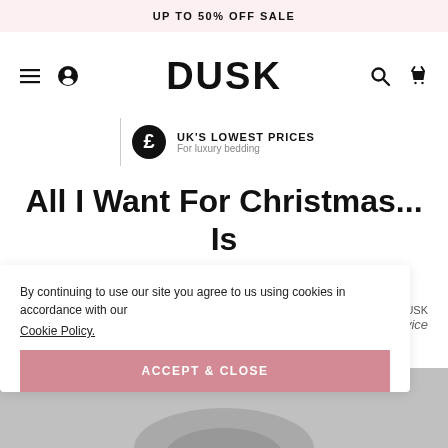UP TO 50% OFF SALE
[Figure (logo): DUSK brand logo with navigation icons: hamburger menu, account icon, search icon, basket icon]
[Figure (infographic): UK's lowest prices for luxury bedding trust badge with pound sign icon]
All I Want For Christmas... Is A Good Night's Sleep
By continuing to use our site you agree to us using cookies in accordance with our Cookie Policy.
ACCEPT & CLOSE
[Figure (photo): Hero image partially visible at bottom of page, grey tones]